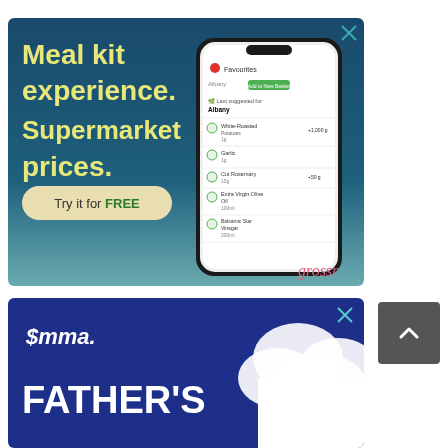[Figure (photo): Advertisement banner for 'grossr' meal kit service. Dark teal/blue gradient background. Large yellow-green text reads 'Meal kit experience. Supermarket prices.' A hand holds a smartphone showing a grocery app with 'Albany' location and a shopping list with items like White-Roasted Potatoes, Garlic, Cut Rosemary, Extra Virgin Olive Oil, Balsamic Star Vinegar. A beige pill-shaped button reads 'Try it for FREE' (FREE in bold green). Bottom right shows 'grossr' brand name in pink cursive. Top right has a close (X) button in teal.]
[Figure (photo): Advertisement banner for 'Emma.' Father's Day promotion. Dark navy/indigo blue background with white cloud shapes on the right side. White 'Emma.' logo with stylized 'E' at top left. Large bold white text reads 'FATHER'S'. Top right has a close (X) button.]